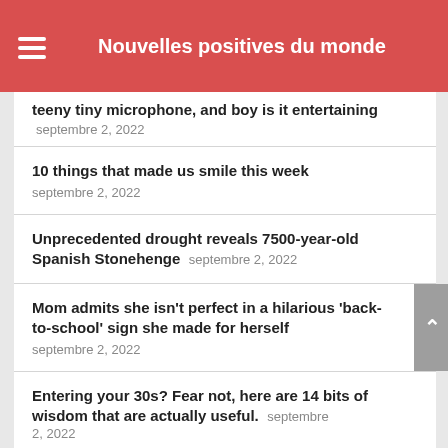Nouvelles positives du monde
teeny tiny microphone, and boy is it entertaining septembre 2, 2022
10 things that made us smile this week septembre 2, 2022
Unprecedented drought reveals 7500-year-old Spanish Stonehenge septembre 2, 2022
Mom admits she isn't perfect in a hilarious 'back-to-school' sign she made for herself septembre 2, 2022
Entering your 30s? Fear not, here are 14 bits of wisdom that are actually useful. septembre 2, 2022